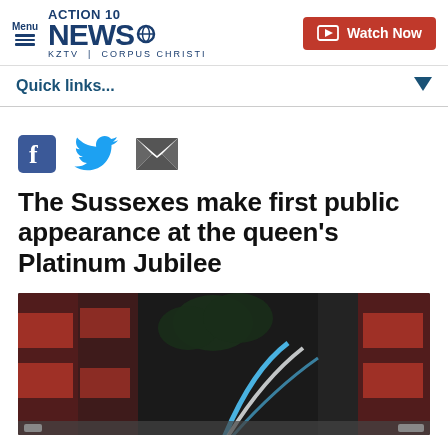Menu | ACTION 10 NEWS KZTV | CORPUS CHRISTI | Watch Now
Quick links...
[Figure (illustration): Social media share icons: Facebook, Twitter, Email]
The Sussexes make first public appearance at the queen's Platinum Jubilee
[Figure (photo): News video thumbnail showing crowd with Union Jack flags and a blue/white graphic overlay]